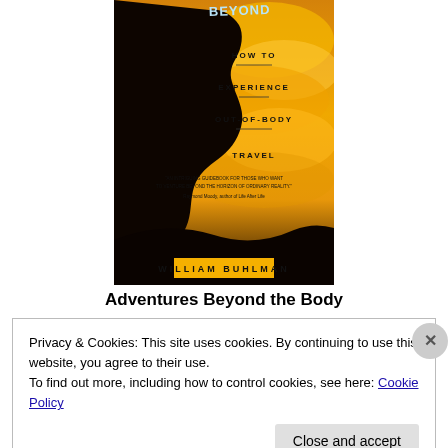[Figure (photo): Book cover of 'Adventures Beyond the Body: How to Experience Out-of-Body Travel' by William Buhlman. Features a silhouette of a face profile against a dramatic orange/golden cloudy sky background. Text on cover reads HOW TO EXPERIENCE OUT-OF-BODY TRAVEL with a quote from Raymond Moody, author of Life After Life.]
Adventures Beyond the Body
Privacy & Cookies: This site uses cookies. By continuing to use this website, you agree to their use.
To find out more, including how to control cookies, see here: Cookie Policy
Close and accept